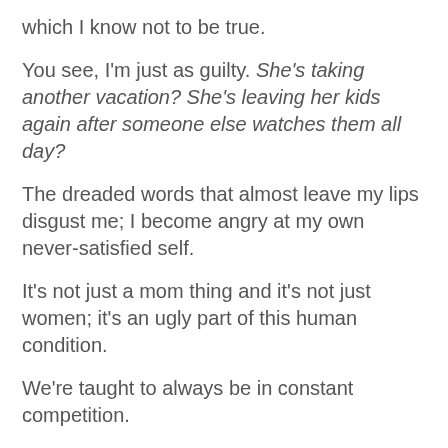which I know not to be true.
You see, I'm just as guilty. She's taking another vacation? She's leaving her kids again after someone else watches them all day?
The dreaded words that almost leave my lips disgust me; I become angry at my own never-satisfied self.
It's not just a mom thing and it's not just women; it's an ugly part of this human condition.
We're taught to always be in constant competition.
But I KNOW her kids are easier than mine.
No, you don't.